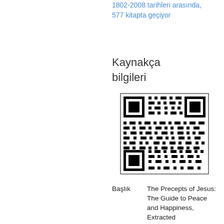1802-2008 tarihleri arasında, 577 kitapta geçiyor
Kaynakça bilgileri
[Figure (other): QR code linking to bibliographic information]
Başlık   The Precepts of Jesus: The Guide to Peace and Happiness, Extracted